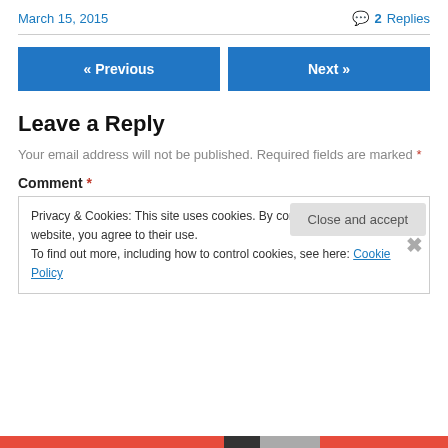March 15, 2015   2 Replies
« Previous   Next »
Leave a Reply
Your email address will not be published. Required fields are marked *
Comment *
Privacy & Cookies: This site uses cookies. By continuing to use this website, you agree to their use.
To find out more, including how to control cookies, see here: Cookie Policy
Close and accept